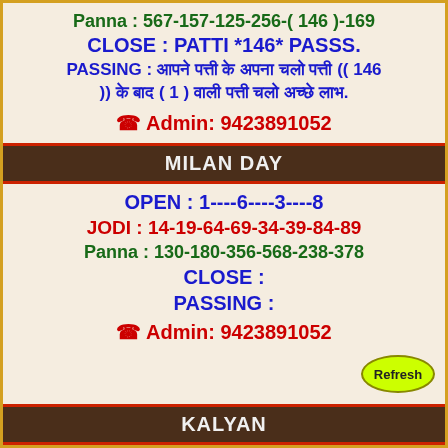Panna : 567-157-125-256-( 146 )-169
CLOSE : PATTI *146* PASSS.
PASSING : आपने पत्ती के अपना चलो पत्ती (( 146 )) के बाद ( 1 ) वाली पत्ती चलो अच्छे लाभ.
☎ Admin: 9423891052
MILAN DAY
OPEN : 1----6----3----8
JODI : 14-19-64-69-34-39-84-89
Panna : 130-180-356-568-238-378
CLOSE :
PASSING :
☎ Admin: 9423891052
KALYAN